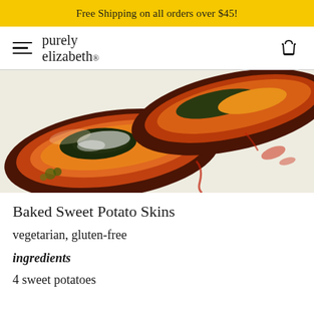Free Shipping on all orders over $45!
[Figure (logo): Purely Elizabeth logo with hamburger menu icon and basket icon in navigation bar]
[Figure (photo): Close-up photo of baked sweet potato skins topped with cheese, broccoli, and sauce on a light surface]
Baked Sweet Potato Skins
vegetarian, gluten-free
ingredients
4 sweet potatoes